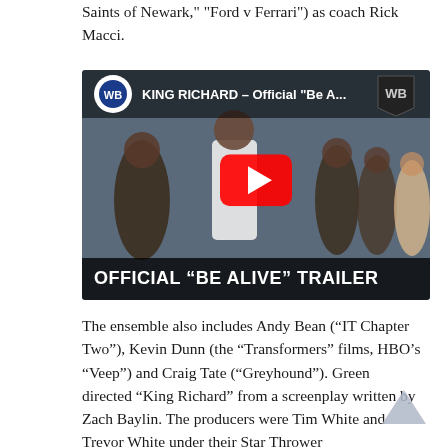Saints of Newark," "Ford v Ferrari") as coach Rick Macci.
[Figure (screenshot): YouTube video thumbnail for KING RICHARD – Official "Be A..." trailer showing a man and several children outdoors, with the WB logo, a red YouTube play button in the center, and the text 'OFFICIAL "BE ALIVE" TRAILER' at the bottom.]
The ensemble also includes Andy Bean ("IT Chapter Two"), Kevin Dunn (the "Transformers" films, HBO's "Veep") and Craig Tate ("Greyhound"). Green directed "King Richard" from a screenplay written by Zach Baylin. The producers were Tim White and Trevor White under their Star Thrower